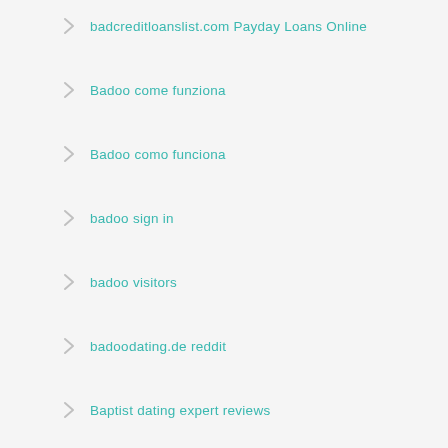badcreditloanslist.com Payday Loans Online
Badoo come funziona
Badoo como funciona
badoo sign in
badoo visitors
badoodating.de reddit
Baptist dating expert reviews
Baptist Dating site
bbpeoplemeet sign in